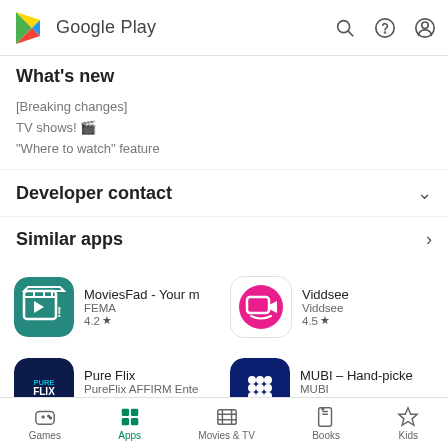Google Play
What's new
[Breaking changes]
TV shows! 🎬
"Where to watch" feature
Developer contact
Similar apps
[Figure (screenshot): MoviesFad app icon - green background with film clapperboard and exclamation mark]
MoviesFad - Your m
FEMA
4.2 ★
[Figure (screenshot): Viddsee app icon - white background with pink circle containing a screen/monitor icon]
Viddsee
Viddsee
4.5 ★
[Figure (screenshot): Pure Flix app icon - dark navy background with PUREFLIX text]
Pure Flix
PureFlix AFFIRM Ente
3.7 ★
[Figure (screenshot): MUBI app icon - dark navy background with white dots in grid pattern]
MUBI – Hand-picke
MUBI
4.6 ★
Games   Apps   Movies & TV   Books   Kids